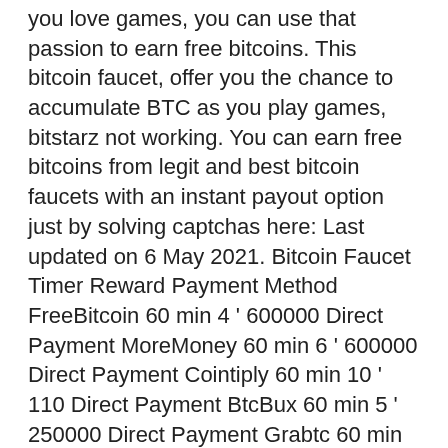you love games, you can use that passion to earn free bitcoins. This bitcoin faucet, offer you the chance to accumulate BTC as you play games, bitstarz not working. You can earn free bitcoins from legit and best bitcoin faucets with an instant payout option just by solving captchas here: Last updated on 6 May 2021. Bitcoin Faucet Timer Reward Payment Method FreeBitcoin 60 min 4 ' 600000 Direct Payment MoreMoney 60 min 6 ' 600000 Direct Payment Cointiply 60 min 10 ' 110 Direct Payment BtcBux 60 min 5 ' 250000 Direct Payment Grabtc 60 min 3 ' 300000 Direct Payment Bitcoinker 5 min 4 ' 100000 Direct Payment Get Your Bitcoin 5 min 1 Faucet Pay Time for Bitcoin 5 min 1 Faucet Pay WorldOfBitcoin 5 min 1 Faucet Pay FireFaucet (Autofaucet) 1 min 10 Direct Payment, bitstarz casino 30 tiradas gratis. The average amount will vary depending on the BTC/USD exchange rate and its